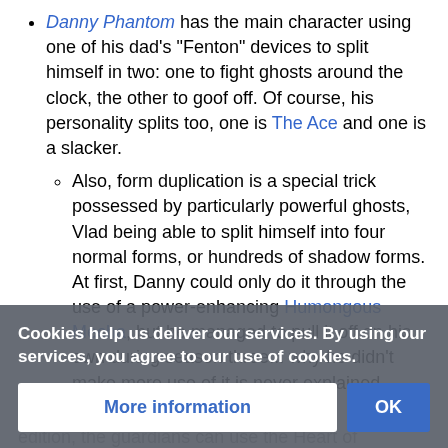Danny Phantom has the main character using one of his dad's "Fenton" devices to split himself in two: one to fight ghosts around the clock, the other to goof off. Of course, his personality splits too, one is The Ace and one is a slacker.
Also, form duplication is a special trick possessed by particularly powerful ghosts, Vlad being able to split himself into four normal forms, or hundreds of shadow forms. At first, Danny could only do it through the use of a power-enhancing Humongous Mecha, but he managed to pull it off on his own during season three... why he didn't make more use of it is never explained.
...the comic version, the guardians can use the Heart of Kandrakar to create soul... known as Astral Drops. Normally the use of Astral Drops is r the...
Cookies help us deliver our services. By using our services, you agree to our use of cookies.